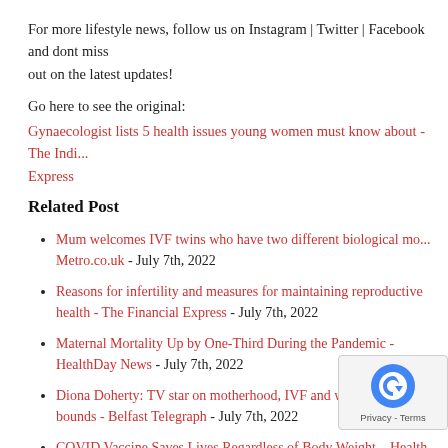For more lifestyle news, follow us on Instagram | Twitter | Facebook and dont miss out on the latest updates!
Go here to see the original:
Gynaecologist lists 5 health issues young women must know about - The Indian Express
Related Post
Mum welcomes IVF twins who have two different biological mo... Metro.co.uk - July 7th, 2022
Reasons for infertility and measures for maintaining reproductive health - The Financial Express - July 7th, 2022
Maternal Mortality Up by One-Third During the Pandemic - HealthDay News - July 7th, 2022
Diona Doherty: TV star on motherhood, IVF and why nothing is out of bounds - Belfast Telegraph - July 7th, 2022
COVID Vaccine Saves Lives Regardless of Body Weight - Health News - July 7th, 2022
What Drives Doctors to Take Their Own Lives - Hea... July 7th, 2022